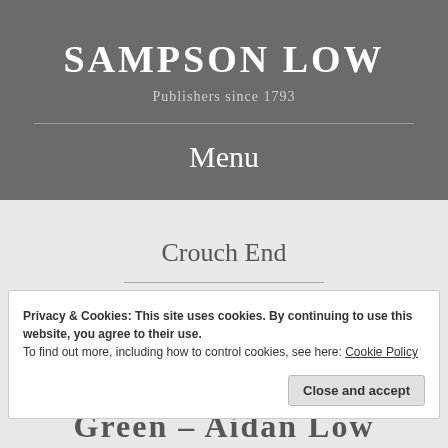SAMPSON LOW
Publishers since 1793
Menu
Crouch End
Privacy & Cookies: This site uses cookies. By continuing to use this website, you agree to their use.
To find out more, including how to control cookies, see here: Cookie Policy
Close and accept
Green – Aidan Low